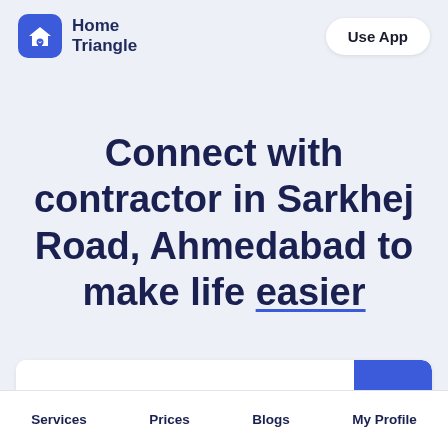Home Triangle | Use App
Connect with contractor in Sarkhej Road, Ahmedabad to make life easier
[Figure (screenshot): Search bar with white background and a blue button on the right side]
Services | Prices | Blogs | My Profile